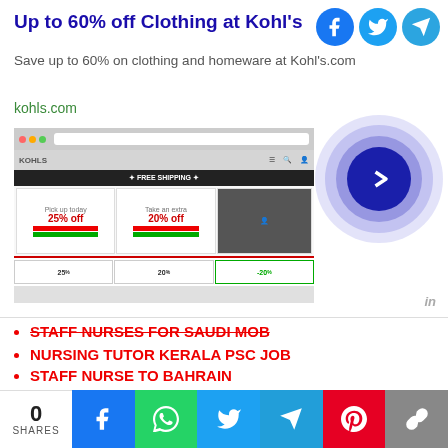[Figure (screenshot): Advertisement for Kohl's clothing sale showing a browser screenshot of the Kohl's website with sale banners, and a circular play button on the right side. Social share icons (Facebook, Twitter, Telegram) appear at top right.]
Up to 60% off Clothing at Kohl's
Save up to 60% on clothing and homeware at Kohl's.com
kohls.com
STAFF NURSES FOR SAUDI MOB
NURSING TUTOR KERALA PSC JOB
STAFF NURSE TO BAHRAIN
AIIMS DELHI STAFF NURSE VACANCY
COVID DUTY HYDERABAD
For latest Nursing and Paramedical vacancies also you
0 SHARES | Facebook | WhatsApp | Twitter | Telegram | Pinterest | Copy